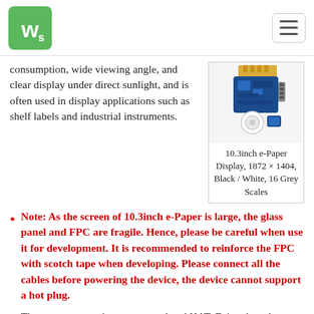Waveshare logo and navigation
consumption, wide viewing angle, and clear display under direct sunlight, and is often used in display applications such as shelf labels and industrial instruments.
[Figure (photo): 10.3inch e-Paper display module with FPC cable and driver board]
10.3inch e-Paper Display, 1872 × 1404, Black / White, 16 Grey Scales
Note: As the screen of 10.3inch e-Paper is large, the glass panel and FPC are fragile. Hence, please be careful when use it for development. It is recommended to reinforce the FPC with scotch tape when developing. Please connect all the cables before powering the device, the device cannot support a hot plug.
There are two versions: raw panel and HAT. Driver board (IT8951) is required for the raw panel, if you are the first time buying this product, we recommend you choose the HAT version which comes with the